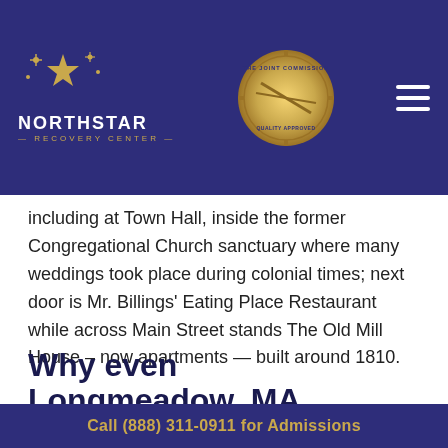[Figure (logo): NorthStar Recovery Center logo with star graphic in gold on dark navy background, and The Joint Commission gold seal badge]
including at Town Hall, inside the former Congregational Church sanctuary where many weddings took place during colonial times; next door is Mr. Billings' Eating Place Restaurant while across Main Street stands The Old Mill House – now apartments — built around 1810.
Why even Longmeadow, MA Needs Drug and Alcohol Addiction
Call (888) 311-0911 for Admissions